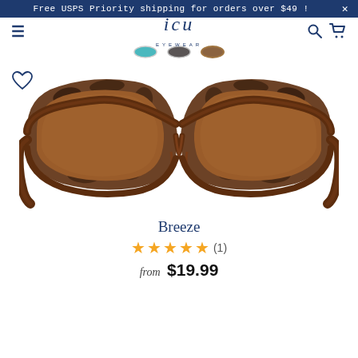Free USPS Priority shipping for orders over $49 !  X
[Figure (logo): ICU Eyewear logo with hamburger menu, search and cart icons]
[Figure (illustration): Three color swatches: teal/blue, dark grey, and brown]
[Figure (photo): Breeze sunglasses with tortoiseshell frame and brown lenses, front view, with a heart/wishlist icon in upper left]
Breeze
★★★★★ (1)
from $19.99